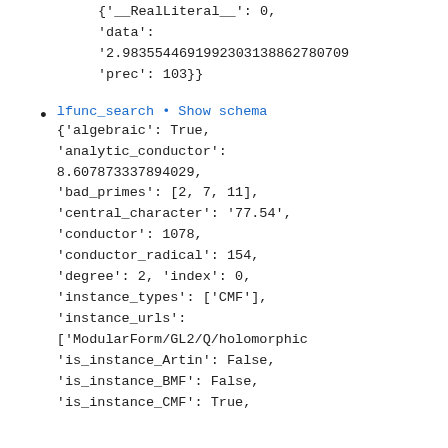{'__RealLiteral__': 0,
'data':
'2.9835544691992303138862780709
'prec': 103}}
lfunc_search • Show schema
{'algebraic': True,
'analytic_conductor':
8.607873337894029,
'bad_primes': [2, 7, 11],
'central_character': '77.54',
'conductor': 1078,
'conductor_radical': 154,
'degree': 2, 'index': 0,
'instance_types': ['CMF'],
'instance_urls':
['ModularForm/GL2/Q/holomorphic
'is_instance_Artin': False,
'is_instance_BMF': False,
'is_instance_CMF': True,